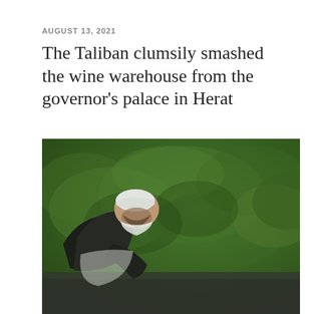AUGUST 13, 2021
The Taliban clumsily smashed the wine warehouse from the governor's palace in Herat
[Figure (photo): A person wearing a white skullcap and dark clothing bending forward, with dense green foliage/bushes in the background. Low quality, blurry video still.]